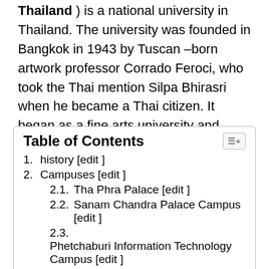Thailand ) is a national university in Thailand. The university was founded in Bangkok in 1943 by Tuscan –born artwork professor Corrado Feroci, who took the Thai mention Silpa Bhirasri when he became a Thai citizen. It began as a fine arts university and nowadays includes many other faculties as well. In 2016, it has 25,210 students. [ 4 ]
Table of Contents
1. history [edit ]
2. Campuses [edit ]
2.1. Tha Phra Palace [edit ]
2.2. Sanam Chandra Palace Campus [edit ]
2.3. Phetchaburi Information Technology Campus [edit ]
3. Faculties [edit ]
4. celebrated alumni [edit ]